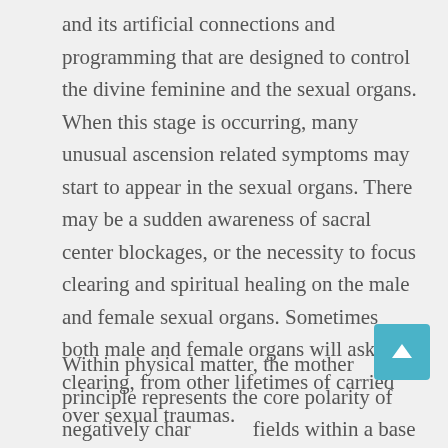and its artificial connections and programming that are designed to control the divine feminine and the sexual organs. When this stage is occurring, many unusual ascension related symptoms may start to appear in the sexual organs. There may be a sudden awareness of sacral center blockages, or the necessity to focus clearing and spiritual healing on the male and female sexual organs. Sometimes both male and female organs will ask for clearing, from other lifetimes of carried over sexual traumas.
Within physical matter, the mother principle represents the core polarity of negatively charged fields within a base magnetic field, thus it is associated with the manifest elements of protons, gravitons and positrons. When thinking about the